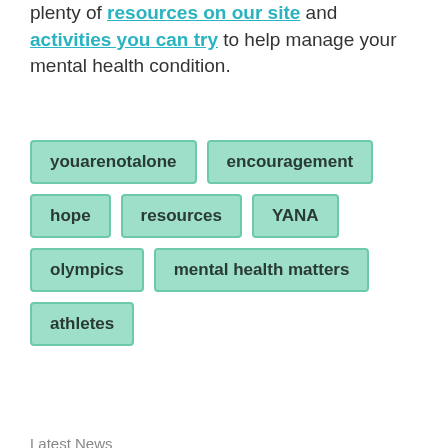plenty of resources on our site and activities you can try to help manage your mental health condition.
youarenotalone
encouragement
hope
resources
YANA
olympics
mental health matters
athletes
Latest News
Social share icons: Facebook, Twitter, LinkedIn, Link
Recent Posts
See All
TOP